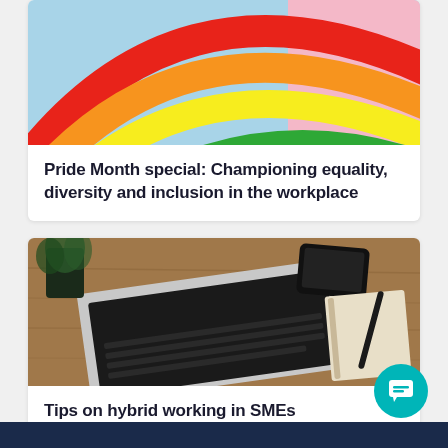[Figure (photo): Rainbow / Pride flag with red, orange, yellow, green, blue stripes and a pink background on the right side]
Pride Month special: Championing equality, diversity and inclusion in the workplace
[Figure (photo): Overhead view of a desk with an open laptop, smartphone, notebook and pen on a wooden surface, with a small plant]
Tips on hybrid working in SMEs